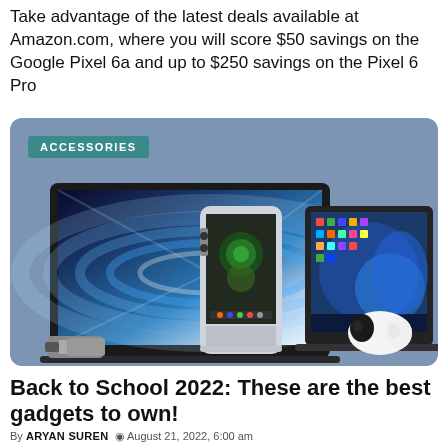Take advantage of the latest deals available at Amazon.com, where you will score $50 savings on the Google Pixel 6a and up to $250 savings on the Pixel 6 Pro
[Figure (photo): Promotional image with teal-blue background showing tech accessories: a MacBook laptop with colorful abstract wallpaper, a Google Pixel 6 phone, a Windows laptop, earbuds and earphones, and a USB drive. An 'ACCESSORIES' badge appears in the top-left corner.]
Back to School 2022: These are the best gadgets to own!
By ARYAN SUREN  August 21, 2022, 6:00 am